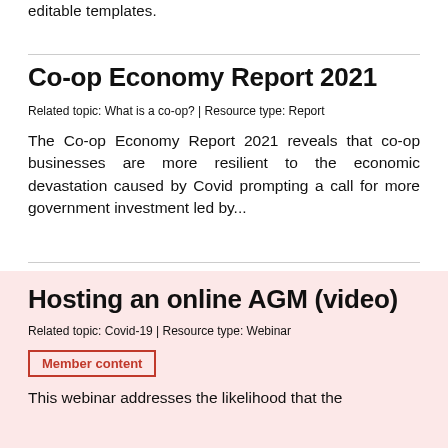editable templates.
Co-op Economy Report 2021
Related topic: What is a co-op? | Resource type: Report
The Co-op Economy Report 2021 reveals that co-op businesses are more resilient to the economic devastation caused by Covid prompting a call for more government investment led by...
Hosting an online AGM (video)
Related topic: Covid-19 | Resource type: Webinar
Member content
This webinar addresses the likelihood that the majority of AGMs will take place online this...